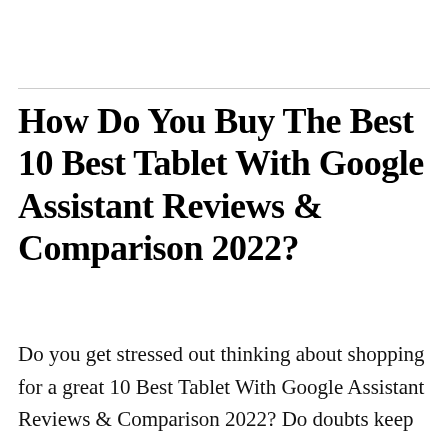How Do You Buy The Best 10 Best Tablet With Google Assistant Reviews & Comparison 2022?
Do you get stressed out thinking about shopping for a great 10 Best Tablet With Google Assistant Reviews & Comparison 2022? Do doubts keep